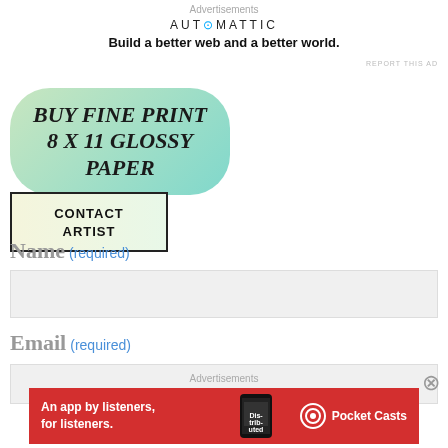Advertisements
[Figure (infographic): Automattic logo and tagline: 'Build a better web and a better world.']
REPORT THIS AD
[Figure (infographic): Green gradient pill/bubble shape with bold italic text: BUY FINE PRINT 8 X 11 GLOSSY PAPER]
CONTACT ARTIST
Name (required)
Email (required)
Advertisements
[Figure (infographic): Red banner advertisement for Pocket Casts: 'An app by listeners, for listeners.' with phone image and Pocket Casts logo]